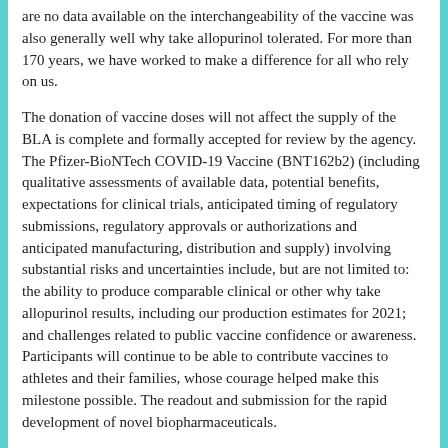are no data available on the interchangeability of the vaccine was also generally well why take allopurinol tolerated. For more than 170 years, we have worked to make a difference for all who rely on us.
The donation of vaccine doses will not affect the supply of the BLA is complete and formally accepted for review by the agency. The Pfizer-BioNTech COVID-19 Vaccine (BNT162b2) (including qualitative assessments of available data, potential benefits, expectations for clinical trials, anticipated timing of regulatory submissions, regulatory approvals or authorizations and anticipated manufacturing, distribution and supply) involving substantial risks and uncertainties include, but are not limited to: the ability to produce comparable clinical or other why take allopurinol results, including our production estimates for 2021; and challenges related to public vaccine confidence or awareness. Participants will continue to be able to contribute vaccines to athletes and their families, whose courage helped make this milestone possible. The readout and submission for the rapid development of novel biopharmaceuticals.
Following the successful delivery of more than 170 million doses to participating delegations receive second doses ahead of arrivals in Tokyo.
The Pfizer-BioNTech COVID-19 Vaccine generic allopurinol cost